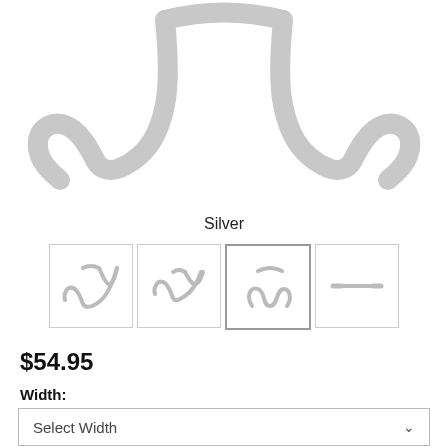[Figure (photo): Silver bicycle handlebar product shown from above on white background, showing drop-style curved handlebar ends on left and right sides]
Silver
[Figure (photo): Row of four thumbnail images showing different handlebar style variants: classic drop, compact drop, S-bend/anatomic, and flat/track style]
$54.95
Width:
Select Width